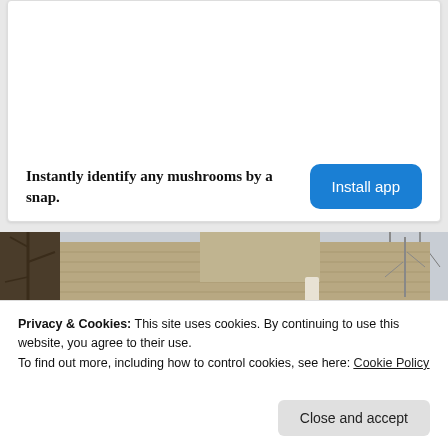Instantly identify any mushrooms by a snap.
Install app
[Figure (photo): Exterior view of a house with siding and gutters, bare trees in background against overcast sky]
Privacy & Cookies: This site uses cookies. By continuing to use this website, you agree to their use.
To find out more, including how to control cookies, see here: Cookie Policy
Close and accept